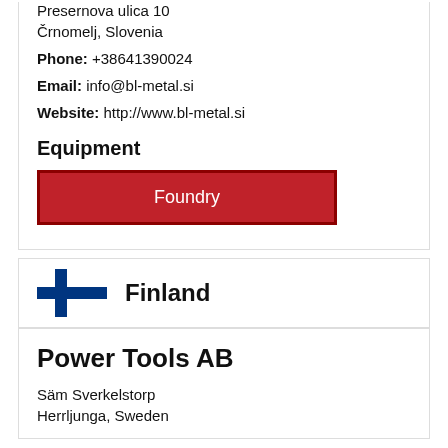Presernova ulica 10
Črnomelj, Slovenia
Phone: +38641390024
Email: info@bl-metal.si
Website: http://www.bl-metal.si
Equipment
Foundry
Finland
Power Tools AB
Säm Sverkelstorp
Herrljunga, Sweden